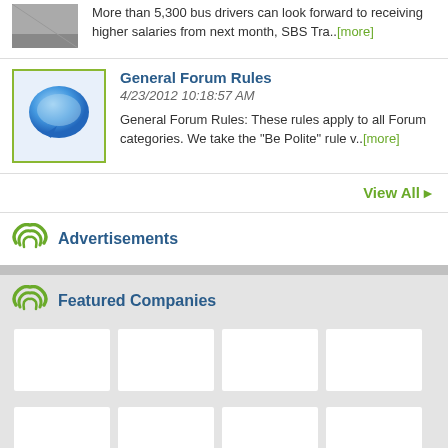More than 5,300 bus drivers can look forward to receiving higher salaries from next month, SBS Tra..[more]
[Figure (other): Forum post thumbnail - blue speech bubble icon with green border]
General Forum Rules
4/23/2012 10:18:57 AM
General Forum Rules: These rules apply to all Forum categories. We take the "Be Polite" rule v..[more]
View All ▶
Advertisements
Featured Companies